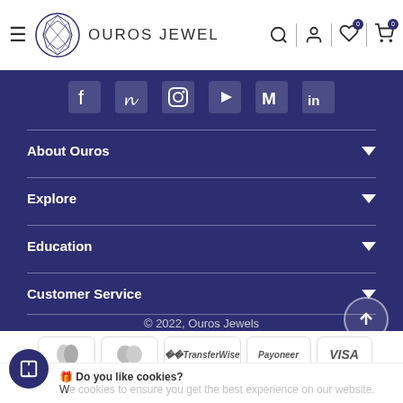Ouros Jewel
[Figure (screenshot): Social media icons row: Facebook, Pinterest, Instagram, YouTube, Gmail, LinkedIn on dark navy background]
About Ouros
Explore
Education
Customer Service
© 2022, Ouros Jewels
[Figure (logo): Payment method logos: PayPal, Mastercard, TransferWise, Payoneer, VISA]
🎁 Do you like cookies? We use cookies to ensure you get the best experience on our website.